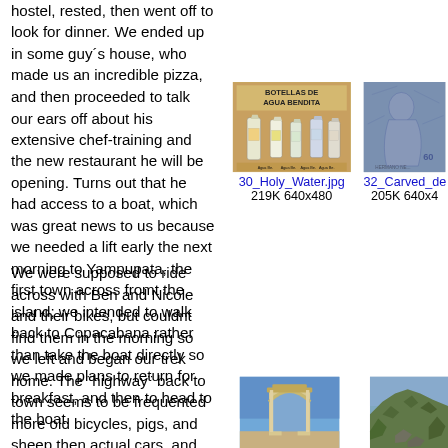hostel, rested, then went off to look for dinner. We ended up in some guy´s house, who made us an incredible pizza, and then proceeded to talk our ears off about his extensive chef-training and the new restaurant he will be opening. Turns out that he had access to a boat, which was great news to us because we needed a lift early the next morning to Yampupata, the first town across fromt the island; we intended to walk back to Copacabana rather than take the boat directly so we made plans to return for breakfast, and then to head to the boat.
[Figure (photo): Photo of holy water bottles labeled 'BOTELLAS DE AGUA BENDITA']
30_Holy_Water.jpg
219K 640x480
[Figure (photo): Carved stone relief image, partially visible]
32_Carved_de...
205K 640x...
We were supposed to ride across with Ben and Nicole and their bikes, but couldnt find them in the morning so we left and began our trek home. The ¨highway¨ back to town seems to be frequented more old bicycles, pigs, and sheep then actual cars, and offered us a real insight into lakeside life. It took about four hours to walk back. An hour or so in, the cyclists past us and we made plans to meet up for
[Figure (photo): Photo of a stone arch gate against blue sky]
[Figure (photo): Photo of a rocky hillside]